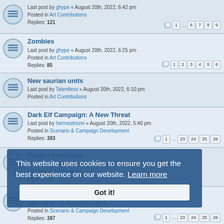Last post by ghype « August 20th, 2022, 6:42 pm | Posted in Art Contributions | Replies: 121 | Pages: 1 ... 6 7 8 9
Zombies | Last post by ghype « August 20th, 2022, 6:25 pm | Posted in Art Contributions | Replies: 85 | Pages: 1 2 3 4 5 6
New saurian units | Last post by Talentless « August 20th, 2022, 6:10 pm | Posted in Art Contributions
Dark Elf Campaign: A New Threat | Last post by hermestrismi « August 20th, 2022, 5:40 pm | Posted in Scenario & Campaign Development | Replies: 383 | Pages: 1 ... 23 24 25 26
Project Solestium | Last post by hermestrismi « August 20th, 2022, 3:44 pm | Posted in Art Workshop | Replies: 10
A Song of Fire: SP Campaign Feedback and Reviews | Last post by ... « August 20th, 2022, ... | Posted in Scenario & Campaign Development | Replies: 387 | Pages: 1 ... 23 24 25 26
After the Storm 0.x... [Wesnoth 1.14.x & 1.15.12+] | Last post by Tenbiting « August 19th, 2022, 7:35 pm | Posted in Scenario & Campaign Development | Replies: 847 | Pages: 1 ... 41 42 43 44
This website uses cookies to ensure you get the best experience on our website. Learn more | Got it!